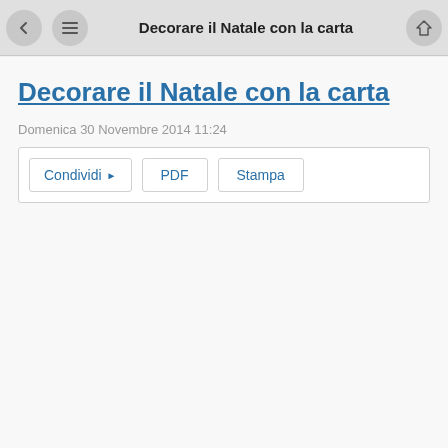Decorare il Natale con la carta
Decorare il Natale con la carta
Domenica 30 Novembre 2014 11:24
Condividi  PDF  Stampa